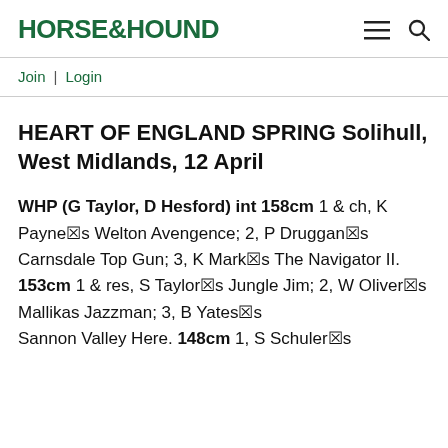HORSE&HOUND
Join | Login
HEART OF ENGLAND SPRING Solihull, West Midlands, 12 April
WHP (G Taylor, D Hesford) int 158cm 1 & ch, K Payne☒s Welton Avengence; 2, P Druggan☒s Carnsdale Top Gun; 3, K Mark☒s The Navigator II. 153cm 1 & res, S Taylor☒s Jungle Jim; 2, W Oliver☒s Mallikas Jazzman; 3, B Yates☒s Sannon Valley Here. 148cm 1, S Schuler☒s